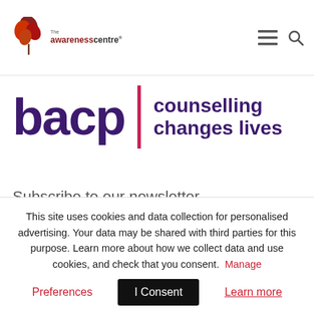[Figure (logo): The Awareness Centre logo with autumn leaf graphic and text 'the awarenesscentre' in red/dark tones]
[Figure (logo): BACP logo with large purple 'bacp' letters, pink vertical bar, and tagline 'counselling changes lives' in purple]
Subscribe to our newsletter
Your name*
This site uses cookies and data collection for personalised advertising. Your data may be shared with third parties for this purpose. Learn more about how we collect data and use cookies, and check that you consent. Manage
Preferences | I Consent | Learn more